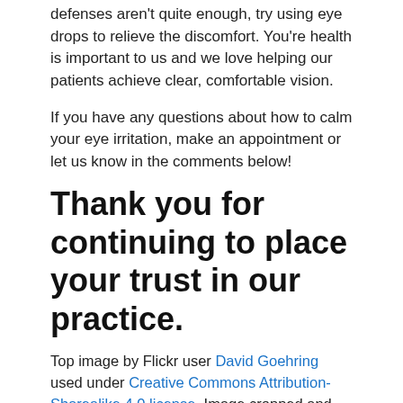defenses aren't quite enough, try using eye drops to relieve the discomfort. You're health is important to us and we love helping our patients achieve clear, comfortable vision.
If you have any questions about how to calm your eye irritation, make an appointment or let us know in the comments below!
Thank you for continuing to place your trust in our practice.
Top image by Flickr user David Goehring used under Creative Commons Attribution-Sharealike 4.0 license. Image cropped and modified from original.
The content on this blog is not intended to be a substitute for professional medical advice, diagnosis, or treatment. Always seek the advice of qualified health providers with questions you may have regarding medical conditions.